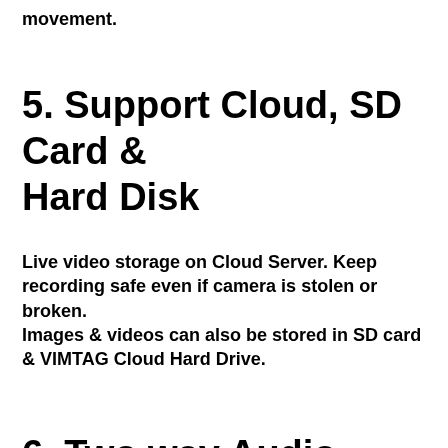movement.
5. Support Cloud, SD Card & Hard Disk
Live video storage on Cloud Server. Keep recording safe even if camera is stolen or broken.
Images & videos can also be stored in SD card & VIMTAG Cloud Hard Drive.
6. Two way Audio